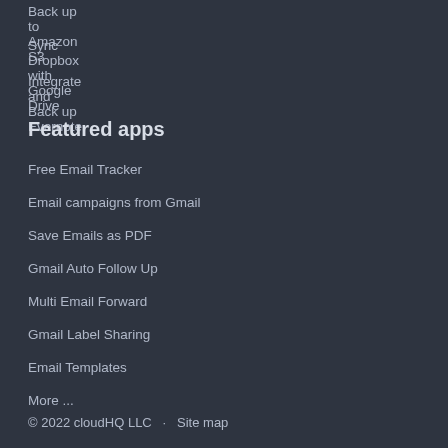Back up to Amazon S3
Sync Dropbox with Google Drive
Integrate and Back up Evernote
Featured apps
Free Email Tracker
Email campaigns from Gmail
Save Emails as PDF
Gmail Auto Follow Up
Multi Email Forward
Gmail Label Sharing
Email Templates
More ...
© 2022 cloudHQ LLC  ·  Site map